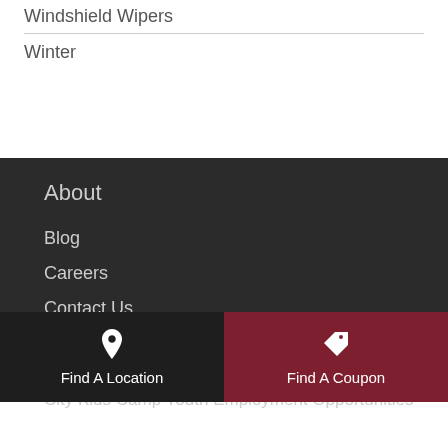Windshield Wipers
Winter
About
Blog
Careers
Contact Us
Jiffy Lube Gift Card®
Jiffy Lube® Privacy Policy
City Kids Camp Youth Employment Opportunities
Find A Location
Find A Coupon